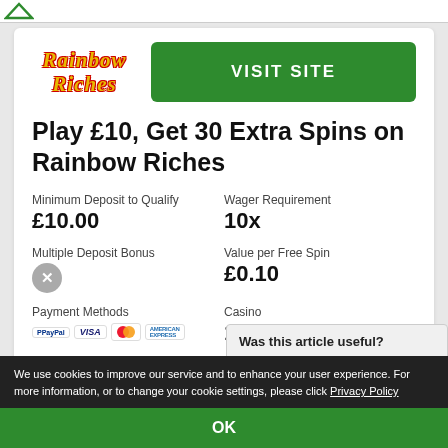[Figure (logo): Rainbow Riches logo in yellow with red outline italic text]
VISIT SITE
Play £10, Get 30 Extra Spins on Rainbow Riches
Minimum Deposit to Qualify
£10.00
Wager Requirement
10x
Multiple Deposit Bonus
Value per Free Spin
£0.10
Payment Methods
Casino
150
Was this article useful?
We use cookies to improve our service and to enhance your user experience. For more information, or to change your cookie settings, please click Privacy Policy
OK